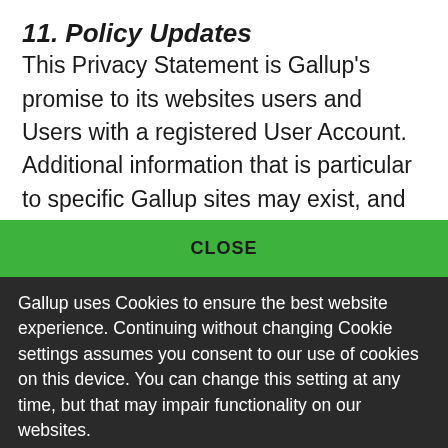11. Policy Updates
This Privacy Statement is Gallup's promise to its websites users and Users with a registered User Account. Additional information that is particular to specific Gallup sites may exist, and updates to this policy may be posted. For these reasons, we
CLOSE
Gallup uses Cookies to ensure the best website experience. Continuing without changing Cookie settings assumes you consent to our use of cookies on this device. You can change this setting at any time, but that may impair functionality on our websites.
Privacy Statement   Site Terms of Use and Sale
Product Terms of Use   Adjust your cookie settings.